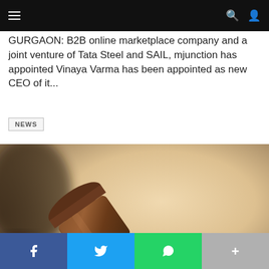Navigation bar with menu, search and user icons
GURGAON: B2B online marketplace company and a joint venture of Tata Steel and SAIL, mjunction has appointed Vinaya Varma has been appointed as new CEO of it...
NEWS
[Figure (photo): Close-up photograph of a wooden judge's gavel resting on a surface, with a warm blurred background.]
Social share buttons: Facebook, Twitter, WhatsApp, More